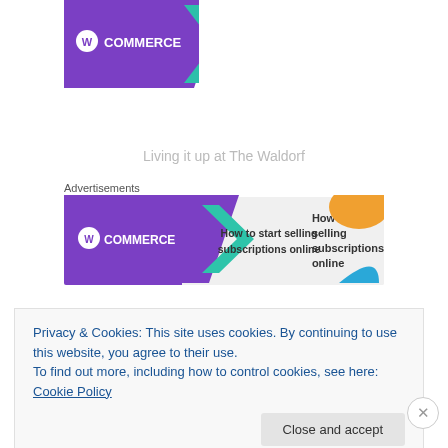Living it up at The Waldorf
Advertisements
[Figure (other): WooCommerce advertisement banner: purple background with WooCommerce logo on left, text 'How to start selling subscriptions online' on right with decorative shapes]
Next day, following a leisurely and rather late breakfast,
Privacy & Cookies: This site uses cookies. By continuing to use this website, you agree to their use.
To find out more, including how to control cookies, see here: Cookie Policy
Close and accept